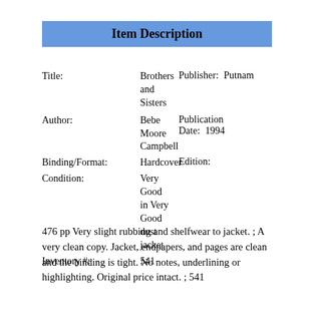Item Description
| Field | Value | Field | Value |
| --- | --- | --- | --- |
| Title: | Brothers and Sisters | Publisher: | Putnam |
| Author: | Bebe Moore Campbell | Publication Date: | 1994 |
| Binding/Format: | Hardcover | Edition: |  |
| Condition: | Very Good in Very Good dust jacket |  |  |
| Inventory #: | 541 |  |  |
476 pp Very slight rubbing and shelfwear to jacket. ;  A very clean copy. Jacket, endpapers, and pages are clean and the binding is tight. No notes, underlining or highlighting. Original price intact. ; 541